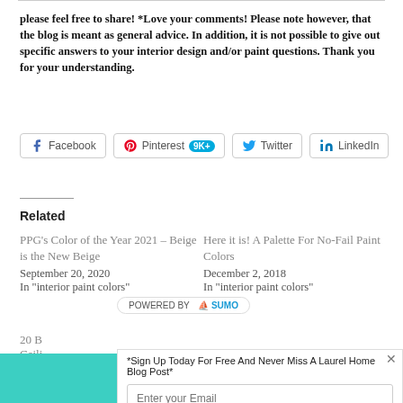please feel free to share! *Love your comments! Please note however, that the blog is meant as general advice. In addition, it is not possible to give out specific answers to your interior design and/or paint questions. Thank you for your understanding.
[Figure (screenshot): Social share buttons: Facebook, Pinterest 9K+, Twitter, LinkedIn]
Related
PPG's Color of the Year 2021 – Beige is the New Beige
September 20, 2020
In "interior paint colors"
Here it is! A Palette For No-Fail Paint Colors
December 2, 2018
In "interior paint colors"
20 B
Ceili
That
Febr
In "i
[Figure (screenshot): Powered by Sumo badge overlay]
*Sign Up Today For Free And Never Miss A Laurel Home Blog Post*
Enter your Email
Gimme The Subscription!